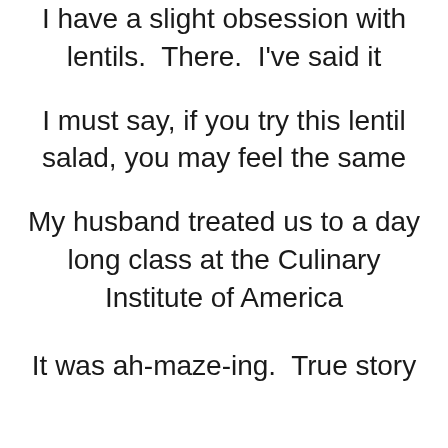I have a slight obsession with lentils.  There.  I've said it
I must say, if you try this lentil salad, you may feel the same
My husband treated us to a day long class at the Culinary Institute of America
It was ah-maze-ing.  True story